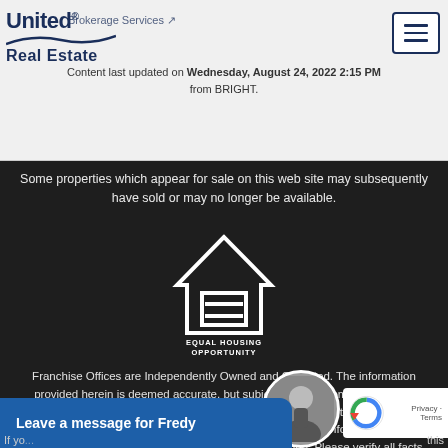United Real Estate - Brokerage Services
Content last updated on Wednesday, August 24, 2022 2:15 PM from BRIGHT.
Some properties which appear for sale on this web site may subsequently have sold or may no longer be available.
[Figure (logo): Equal Housing Opportunity logo - house outline with equal sign]
Franchise Offices are Independently Owned and Operated. The information provided herein is deemed accurate, but subject to errors, omissions, price changes, prior sale or withdrawal. United Real Estate does not guarantee or is anyway responsible for the accuracy or completeness of information, and provides said information without warranties of any kind. Please verify all facts with the affiliate.
Copyright© United Real Estate
Leave a message for Fredy